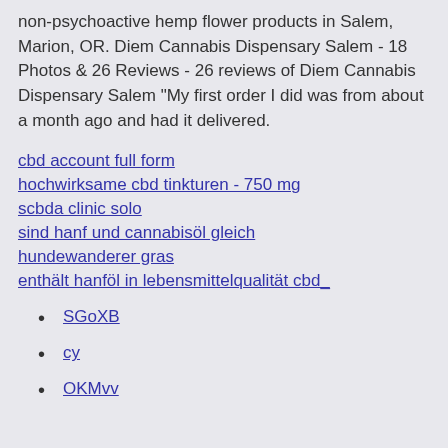non-psychoactive hemp flower products in Salem, Marion, OR. Diem Cannabis Dispensary Salem - 18 Photos & 26 Reviews - 26 reviews of Diem Cannabis Dispensary Salem "My first order I did was from about a month ago and had it delivered.
cbd account full form
hochwirksame cbd tinkturen - 750 mg
scbda clinic solo
sind hanf und cannabisöl gleich
hundewanderer gras
enthält hanföl in lebensmittelqualität cbd_
SGoXB
cy
OKMvv